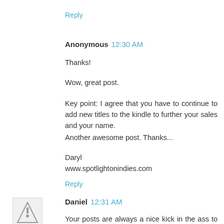Reply
Anonymous  12:30 AM
Thanks!
Wow, great post.
Key point: I agree that you have to continue to add new titles to the kindle to further your sales and your name.
Another awesome post. Thanks...
Daryl
www.spotlightonindies.com
Reply
Daniel  12:31 AM
Your posts are always a nice kick in the ass to actually figure out how to get the gears in the great machine...